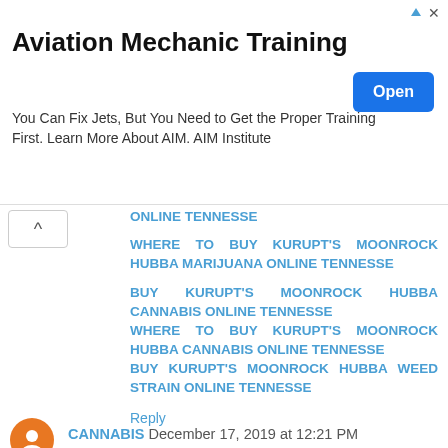[Figure (other): Advertisement banner for Aviation Mechanic Training by AIM Institute with an Open button]
ONLINE TENNESSE
WHERE TO BUY KURUPT'S MOONROCK HUBBA MARIJUANA ONLINE TENNESSE
BUY KURUPT'S MOONROCK HUBBA CANNABIS ONLINE TENNESSE
WHERE TO BUY KURUPT'S MOONROCK HUBBA CANNABIS ONLINE TENNESSE
BUY KURUPT'S MOONROCK HUBBA WEED STRAIN ONLINE TENNESSE
WHERE TO BUY KURUPT'S MOONROCK HUBBA WEED STRAIN ONLINE TENNESSE
Reply
CANNABIS December 17, 2019 at 12:21 PM